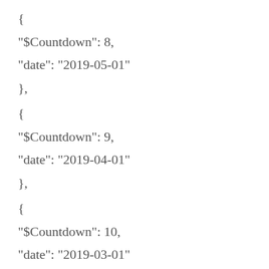{
"$Countdown": 8,
"date": "2019-05-01"
},
{
"$Countdown": 9,
"date": "2019-04-01"
},
{
"$Countdown": 10,
"date": "2019-03-01"
},
{
"$Countdown": 11,